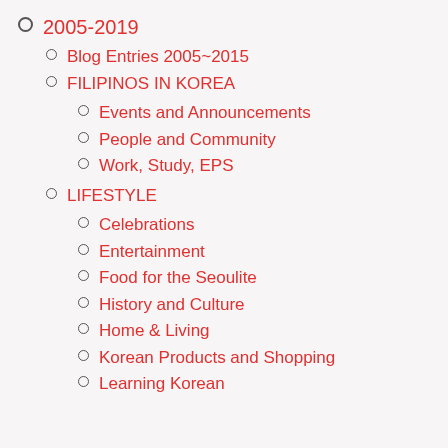2005-2019
Blog Entries 2005~2015
FILIPINOS IN KOREA
Events and Announcements
People and Community
Work, Study, EPS
LIFESTYLE
Celebrations
Entertainment
Food for the Seoulite
History and Culture
Home & Living
Korean Products and Shopping
Learning Korean